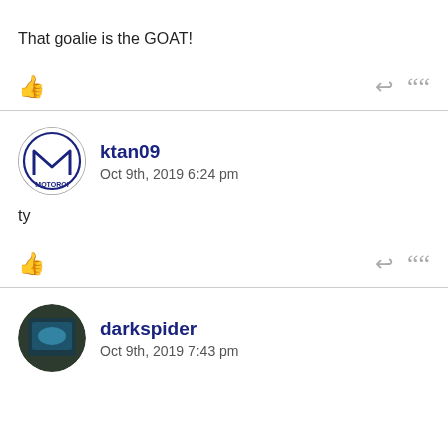That goalie is the GOAT!
ktan09
Oct 9th, 2019 6:24 pm
ty
darkspider
Oct 9th, 2019 7:43 pm